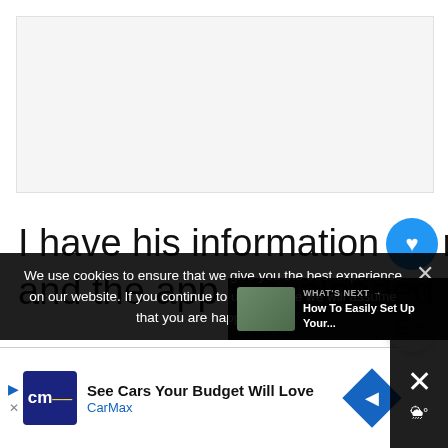[Figure (other): Empty light gray placeholder image area]
I have his information on my phone and the app downloaded so I ca
10.4K
We use cookies to ensure that we give you the best experience on our website. If you continue to use this site we will assume that you are happy with it.
WHAT'S NEXT → How To Easily Set Up Your...
See Cars Your Budget Will Love CarMax